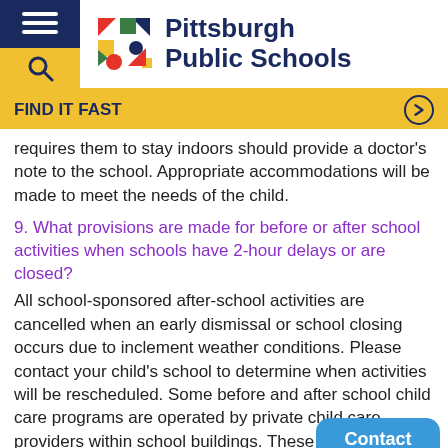Pittsburgh Public Schools
FIND IT FAST
requires them to stay indoors should provide a doctor's note to the school. Appropriate accommodations will be made to meet the needs of the child.
9. What provisions are made for before or after school activities when schools have 2-hour delays or are closed?
All school-sponsored after-school activities are cancelled when an early dismissal or school closing occurs due to inclement weather conditions. Please contact your child's school to determine when activities will be rescheduled. Some before and after school child care programs are operated by private child care providers within school buildings. These programs are not required to follow School District inclement weather procedures. Some programs may